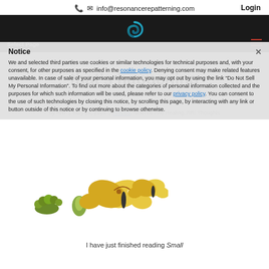📞  ✉ info@resonancerepatterning.com
Login
[Figure (logo): Teal spiral logo for Resonance Repatterning]
Select Page
Notice
We and selected third parties use cookies or similar technologies for technical purposes and, with your consent, for other purposes as specified in the cookie policy. Denying consent may make related features unavailable. In case of sale of your personal information, you may opt out by using the link "Do Not Sell My Personal Information". To find out more about the categories of personal information collected and the purposes for which such information will be used, please refer to our privacy policy. You can consent to the use of such technologies by closing this notice, by scrolling this page, by interacting with any link or button outside of this notice or by continuing to browse otherwise.
that's happening
by RRI  |  May 26, 2016  |  Articles, Science And Healing, RRI Thoughts
[Figure (illustration): Butterfly metamorphosis illustration showing caterpillar, chrysalis, and butterfly stages]
I have just finished reading Small